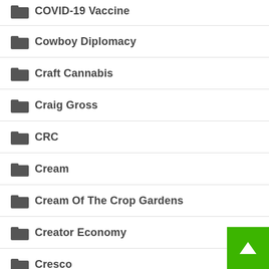COVID-19 Vaccine
Cowboy Diplomacy
Craft Cannabis
Craig Gross
CRC
Cream
Cream Of The Crop Gardens
Creator Economy
Cresco
Crime Prevention
Criminal Justice
Criminal Justice Reform
CRISPR